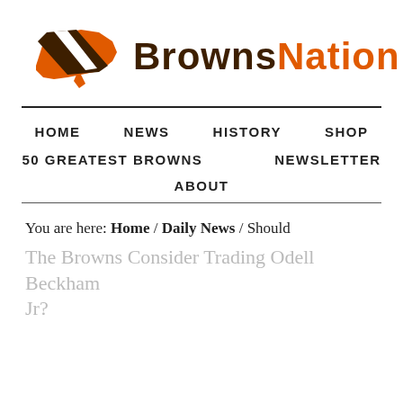[Figure (logo): Browns Nation logo: orange USA map silhouette with brown and white diagonal stripe, next to BrownsNation text]
HOME  NEWS  HISTORY  SHOP  50 GREATEST BROWNS  NEWSLETTER  ABOUT
You are here: Home / Daily News / Should The Browns Consider Trading Odell Beckham Jr?